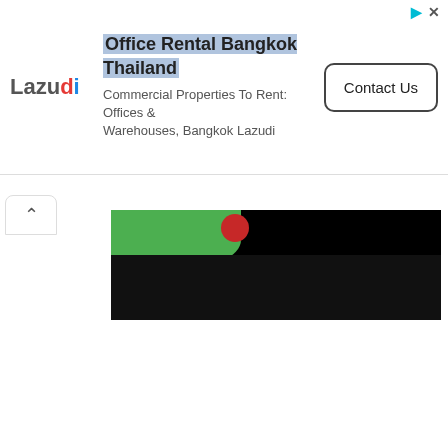[Figure (screenshot): Advertisement banner for Lazudi Office Rental Bangkok Thailand. Shows Lazudi logo on left, ad title 'Office Rental Bangkok Thailand' highlighted in blue-grey, subtitle 'Commercial Properties To Rent: Offices & Warehouses, Bangkok Lazudi', and a 'Contact Us' button on the right. Top-right has ad icons (arrow and X). Below the banner is a collapse chevron button and a photo strip showing a dark image with green and red elements at the top.]
Office Rental Bangkok Thailand
Commercial Properties To Rent: Offices & Warehouses, Bangkok Lazudi